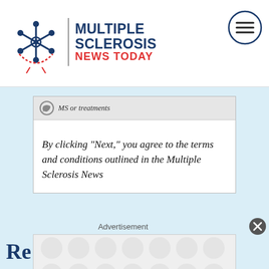Multiple Sclerosis News Today
MS or treatments
By clicking "Next," you agree to the terms and conditions outlined in the Multiple Sclerosis News
Advertisement
Re